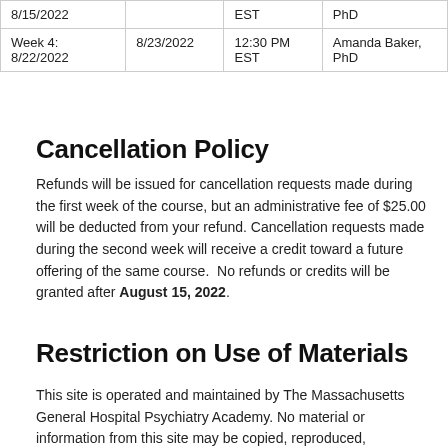| Week | Date | Time | Instructor |
| --- | --- | --- | --- |
| 8/15/2022 |  | EST | PhD |
| Week 4: 8/22/2022 | 8/23/2022 | 12:30 PM EST | Amanda Baker, PhD |
Cancellation Policy
Refunds will be issued for cancellation requests made during the first week of the course, but an administrative fee of $25.00 will be deducted from your refund. Cancellation requests made during the second week will receive a credit toward a future offering of the same course.  No refunds or credits will be granted after August 15, 2022.
Restriction on Use of Materials
This site is operated and maintained by The Massachusetts General Hospital Psychiatry Academy. No material or information from this site may be copied, reproduced, republished, uploaded, posted, transmitted or distributed unless approved in writing by The Psychiatry